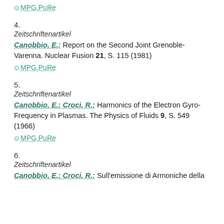MPG.PuRe (link at top)
4.
Zeitschriftenartikel
Canobbio, E.: Report on the Second Joint Grenoble-Varenna. Nuclear Fusion 21, S. 115 (1981)
MPG.PuRe
5.
Zeitschriftenartikel
Canobbio, E.; Croci, R.: Harmonics of the Electron Gyro-Frequency in Plasmas. The Physics of Fluids 9, S. 549 (1966)
MPG.PuRe
6.
Zeitschriftenartikel
Canobbio, E.; Croci, R.: Sull'emissione di Armoniche della